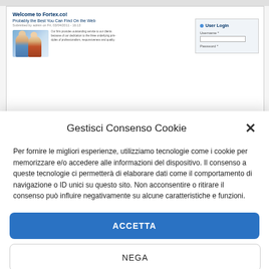[Figure (screenshot): Website screenshot showing Fortex.co homepage with 'Welcome to Fortex.co!' heading, 'Probably the Best You Can Find On the Web' subtitle, submitted by admin info, two people photo, body text, and a User Login box with Username and Password fields.]
Gestisci Consenso Cookie
Per fornire le migliori esperienze, utilizziamo tecnologie come i cookie per memorizzare e/o accedere alle informazioni del dispositivo. Il consenso a queste tecnologie ci permetterà di elaborare dati come il comportamento di navigazione o ID unici su questo sito. Non acconsentire o ritirare il consenso può influire negativamente su alcune caratteristiche e funzioni.
ACCETTA
NEGA
VISUALIZZA LE PREFERENZE